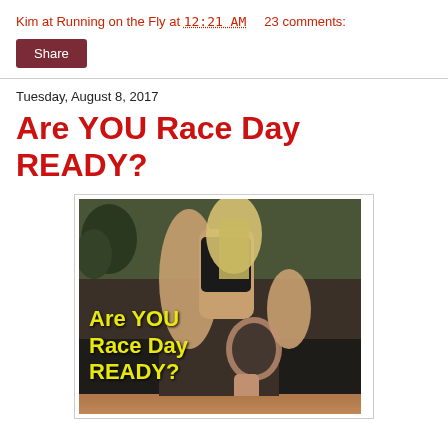Kim at Running on the Fly at 12:21 AM    23 comments:
Share
Tuesday, August 8, 2017
Are YOU Race Day READY?
[Figure (photo): A blonde woman runner stretching or doing a knee exercise outdoors, with yellow bold text overlay reading 'Are YOU Race Day READY?']